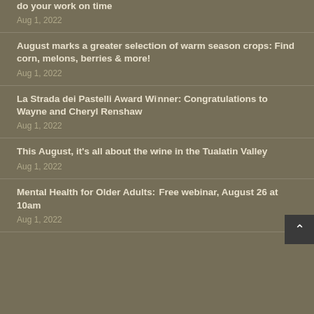do your work on time
Aug 1, 2022
August marks a greater selection of warm season crops: Find corn, melons, berries & more!
Aug 1, 2022
La Strada dei Pastelli Award Winner: Congratulations to Wayne and Cheryl Renshaw
Aug 1, 2022
This August, it's all about the wine in the Tualatin Valley
Aug 1, 2022
Mental Health for Older Adults: Free webinar, August 26 at 10am
Aug 1, 2022